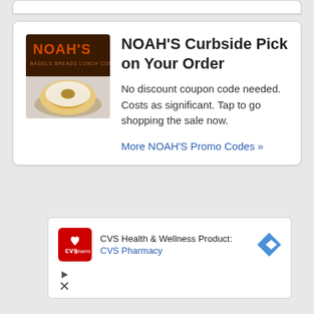[Figure (screenshot): Top edge of a white card (partially visible at top of page)]
NOAH'S Curbside Pick on Your Order
No discount coupon code needed. Costs as significant. Tap to go shopping the sale now.
More NOAH'S Promo Codes »
[Figure (screenshot): CVS Health & Wellness Products advertisement with CVS Pharmacy logo and navigation arrow icon]